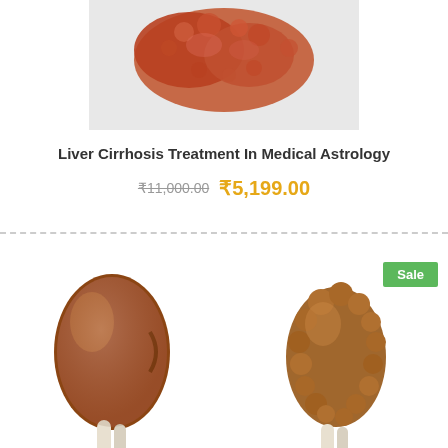[Figure (illustration): Medical illustration of a diseased liver (cirrhosis) — reddish-brown organ with nodular surface, partially visible at top]
Liver Cirrhosis Treatment In Medical Astrology
₹11,000.00 ₹5,199.00
[Figure (illustration): Medical illustration of a healthy kidney — smooth brown bean-shaped organ with white ureter/vessels below]
[Figure (illustration): Medical illustration of a diseased kidney — bumpy brown organ with nodular surface, with a 'Sale' badge in the top right corner]